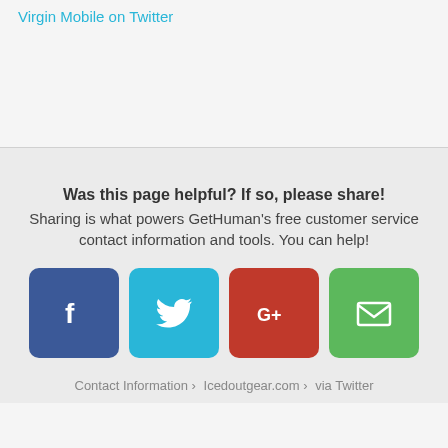Virgin Mobile on Twitter
Was this page helpful? If so, please share! Sharing is what powers GetHuman's free customer service contact information and tools. You can help!
[Figure (infographic): Four social share buttons: Facebook (blue), Twitter (light blue), Google+ (red), Email (green)]
Contact Information › Icedoutgear.com › via Twitter